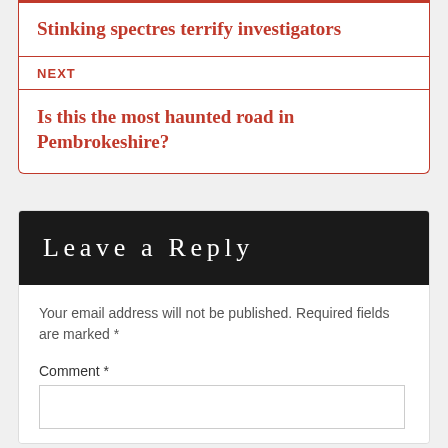Stinking spectres terrify investigators
NEXT
Is this the most haunted road in Pembrokeshire?
Leave a Reply
Your email address will not be published. Required fields are marked *
Comment *